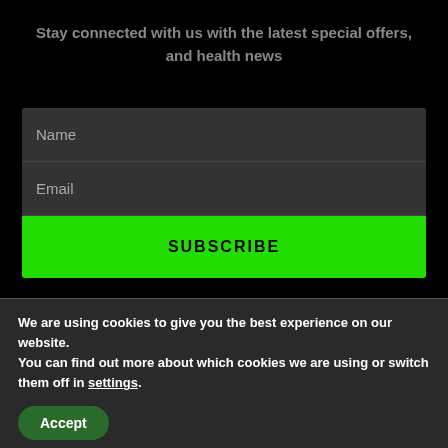Stay connected with us with the latest special offers, and health news
[Figure (screenshot): Email subscription form with Name field, Email field, and a green SUBSCRIBE button on a dark background]
We are using cookies to give you the best experience on our website.
You can find out more about which cookies we are using or switch them off in settings.
Accept